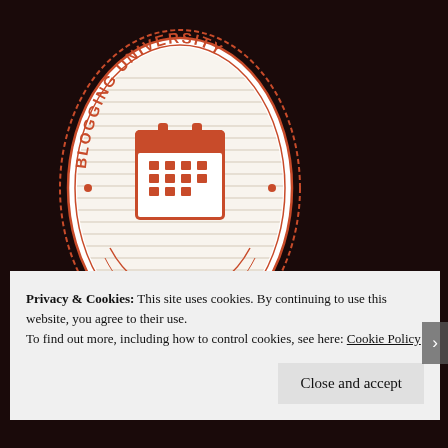[Figure (logo): Blogging University oval logo with calendar icon, text 'BLOGGING UNIVERSITY' arched at top and 'BLOGGING 101' at bottom, in orange/red on white background]
Privacy & Cookies: This site uses cookies. By continuing to use this website, you agree to their use.
To find out more, including how to control cookies, see here: Cookie Policy
Close and accept